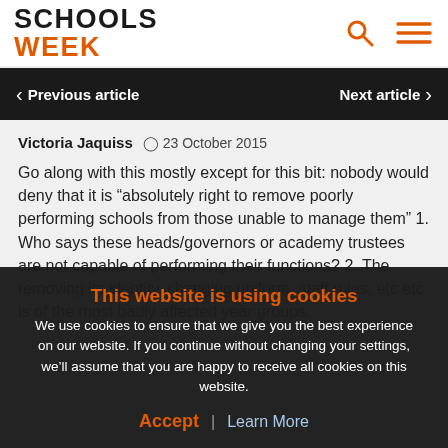SCHOOLS WEEK
Previous article
Next article
Victoria Jaquiss  23 October 2015
Go along with this mostly except for this bit: nobody would deny that it is “absolutely right to remove poorly performing schools from those unable to manage them” 1. Who says these heads/governors or academy trustees are not capable of performing their functions? 2. The removing its identity, changing uniform, staff rules, etc etc is of the most badly affected year groups.
This website is using cookies
We use cookies to ensure that we give you the best experience on our website. If you continue without changing your settings, we’ll assume that you are happy to receive all cookies on this website.
Accept | Learn More